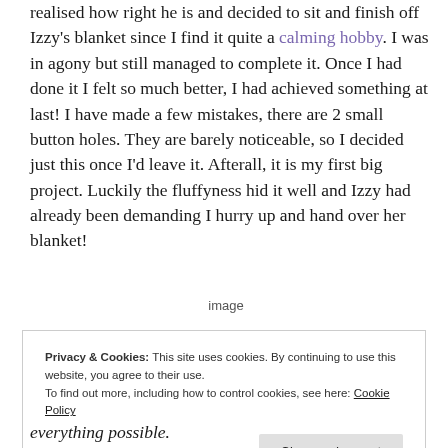realised how right he is and decided to sit and finish off Izzy's blanket since I find it quite a calming hobby. I was in agony but still managed to complete it. Once I had done it I felt so much better, I had achieved something at last! I have made a few mistakes, there are 2 small button holes. They are barely noticeable, so I decided just this once I'd leave it. Afterall, it is my first big project. Luckily the fluffyness hid it well and Izzy had already been demanding I hurry up and hand over her blanket!
[Figure (other): Broken image placeholder labeled 'image']
Privacy & Cookies: This site uses cookies. By continuing to use this website, you agree to their use.
To find out more, including how to control cookies, see here: Cookie Policy
everything possible.